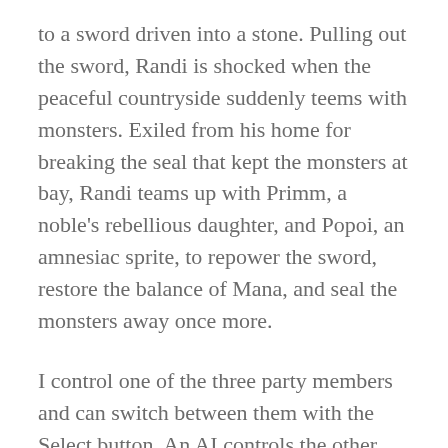to a sword driven into a stone. Pulling out the sword, Randi is shocked when the peaceful countryside suddenly teems with monsters. Exiled from his home for breaking the seal that kept the monsters at bay, Randi teams up with Primm, a noble's rebellious daughter, and Popoi, an amnesiac sprite, to repower the sword, restore the balance of Mana, and seal the monsters away once more.
I control one of the three party members and can switch between them with the Select button. An AI controls the other two characters in combat and I may set their level of aggressiveness and favored range. This is handy since Primm and Popoi are more spellcasters than fighters and are easily overwhelmed in physical combat if I am not keeping an eye on them.